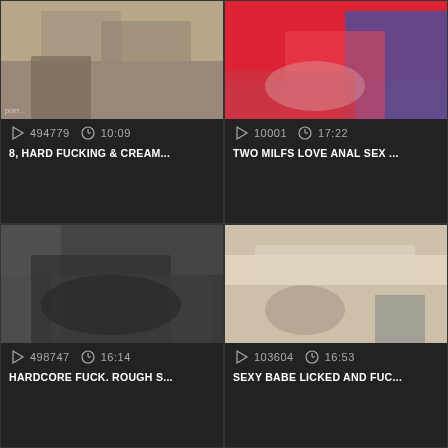[Figure (screenshot): Video thumbnail 1 showing adult content]
494779  10:09
8, HARD FUCKING & CREAM...
[Figure (screenshot): Video thumbnail 2 showing adult content]
10001  17:22
TWO MILFS LOVE ANAL SEX ...
[Figure (screenshot): Video thumbnail 3 showing adult content]
498747  16:14
HARDCORE FUCK. ROUGH S...
[Figure (screenshot): Video thumbnail 4 showing adult content]
103604  16:53
SEXY BABE LICKED AND FUC...